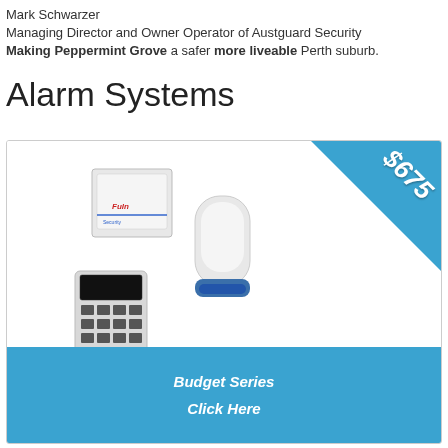Mark Schwarzer
Managing Director and Owner Operator of Austguard Security
Making Peppermint Grove a safer more liveable Perth suburb.
Alarm Systems
[Figure (photo): Product card showing alarm system components (control panel, keypad, siren/strobe) with a blue corner price ribbon showing $675, and a blue footer bar with 'Budget Series' and 'Click Here' text.]